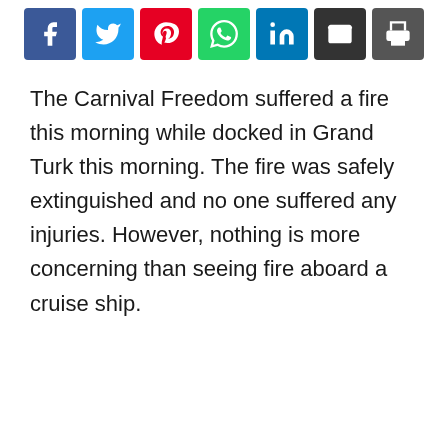[Figure (other): Social media share buttons: Facebook, Twitter, Pinterest, WhatsApp, LinkedIn, Email, Print]
The Carnival Freedom suffered a fire this morning while docked in Grand Turk this morning. The fire was safely extinguished and no one suffered any injuries. However, nothing is more concerning than seeing fire aboard a cruise ship.